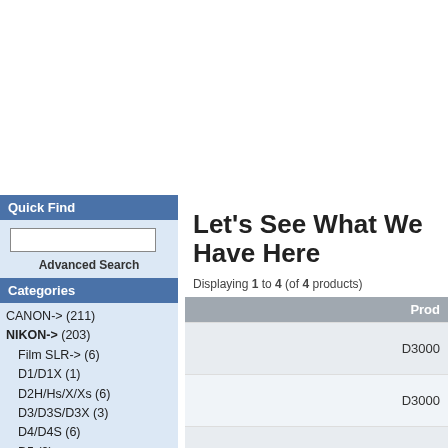Quick Find
Advanced Search
Categories
CANON-> (211)
NIKON-> (203)
Film SLR-> (6)
D1/D1X (1)
D2H/Hs/X/Xs (6)
D3/D3S/D3X (3)
D4/D4S (6)
D5 (2)
D40/D40x (8)
D50 (8)
D60 (7)
D70/D70s (4)
D80 (5)
D90 (5)
D200 (6)
D300/D300s (6)
D500 (5)
D600 (7)
Let's See What We Have Here
Displaying 1 to 4 (of 4 products)
| Product |
| --- |
| D3000 |
| D3000 |
| D3000 |